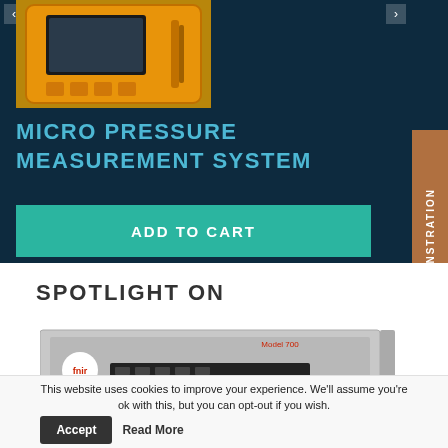[Figure (photo): Orange handheld micro pressure measurement device shown from top view with display screen and buttons]
MICRO PRESSURE MEASUREMENT SYSTEM
ADD TO CART
REQUEST A DEMONSTRATION
SPOTLIGHT ON
[Figure (photo): FMIR Model 700 instrument — a rack-mounted silver/grey electronic measurement device with logo and control panel]
This website uses cookies to improve your experience. We'll assume you're ok with this, but you can opt-out if you wish.
Accept
Read More